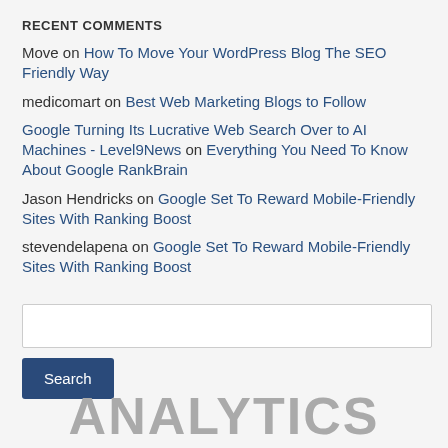RECENT COMMENTS
Move on How To Move Your WordPress Blog The SEO Friendly Way
medicomart on Best Web Marketing Blogs to Follow
Google Turning Its Lucrative Web Search Over to AI Machines - Level9News on Everything You Need To Know About Google RankBrain
Jason Hendricks on Google Set To Reward Mobile-Friendly Sites With Ranking Boost
stevendelapena on Google Set To Reward Mobile-Friendly Sites With Ranking Boost
Search
ANALYTICS